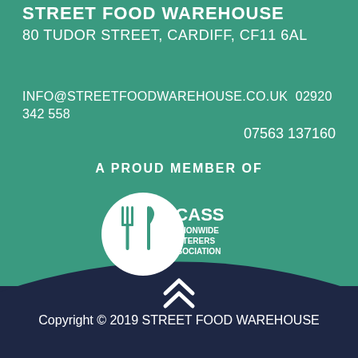STREET FOOD WAREHOUSE
80 TUDOR STREET, CARDIFF, CF11 6AL
INFO@STREETFOODWAREHOUSE.CO.UK 02920 342 558
07563 137160
A PROUD MEMBER OF
[Figure (logo): NCASS Nationwide Caterers Association logo — white circle with fork and knife icon, white text reading NCASS NATIONWIDE CATERERS ASSOCIATION]
Copyright © 2019 STREET FOOD WAREHOUSE